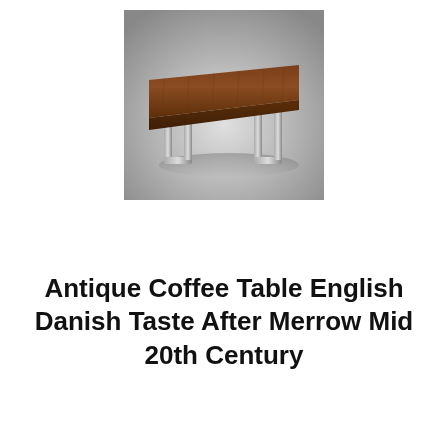[Figure (photo): A photograph of a mid-century modern coffee table with a walnut wood top and brushed chrome/steel U-shaped legs, shown on a grey gradient background.]
Antique Coffee Table English Danish Taste After Merrow Mid 20th Century